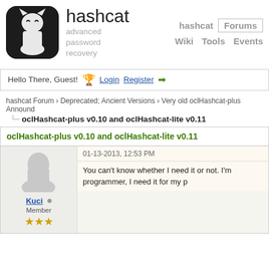[Figure (logo): Hashcat logo: dark rounded square with white cat silhouette]
hashcat
advanced password recovery
hashcat  Forums  Wiki  Tools  Events
Hello There, Guest!  Login  Register →
hashcat Forum › Deprecated; Ancient Versions › Very old oclHashcat-plus Annound
oclHashcat-plus v0.10 and oclHashcat-lite v0.11
oclHashcat-plus v0.10 and oclHashcat-lite v0.11
Kuci  Member  ★★★
01-13-2013, 12:53 PM
You can't know whether I need it or not. I'm programmer, I need it for my p